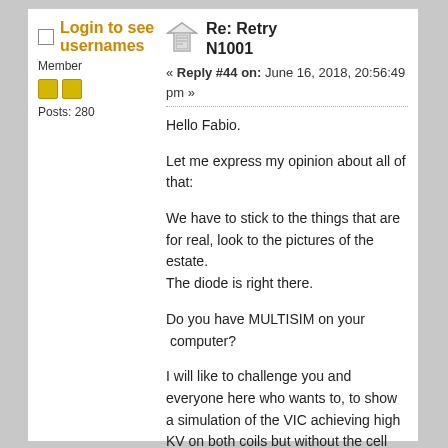Login to see usernames
Member
Posts: 280
Re: Retry N1001
« Reply #44 on: June 16, 2018, 20:56:49 pm »
Hello Fabio.
Let me express my opinion about all of that:
We have to stick to the things that are for real, look to the pictures of the estate.
The diode is right there.
Do you have MULTISIM on your  computer?
I will like to challenge you and everyone here who wants to, to show a simulation of the VIC achieving high KV on both coils but without the cell being the